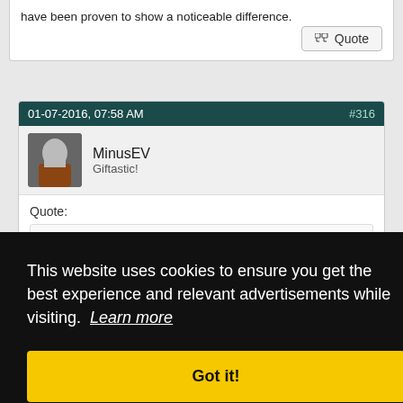have been proven to show a noticeable difference.
Quote
01-07-2016, 07:58 AM
#316
MinusEV
Giftastic!
Quote:
Originally Posted by O.A.F.K.1.1
This website uses cookies to ensure you get the best experience and relevant advertisements while visiting.  Learn more
Got it!